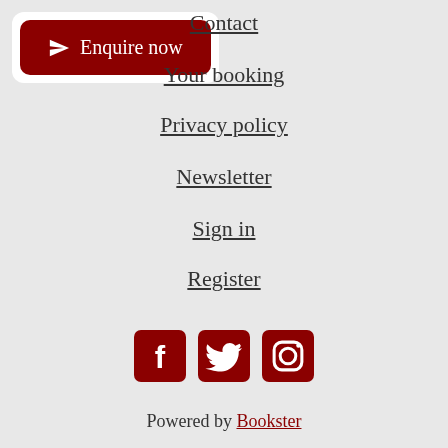[Figure (other): Enquire now button with paper-plane icon, dark red rounded rectangle]
Contact
Your booking
Privacy policy
Newsletter
Sign in
Register
[Figure (other): Social media icons: Facebook, Twitter, Instagram in dark red]
Powered by Bookster